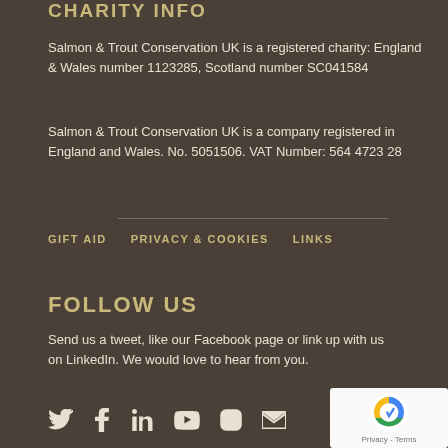CHARITY INFO
Salmon & Trout Conservation UK is a registered charity: England & Wales number 1123285, Scotland number SC041584
Salmon & Trout Conservation UK is a company registered in England and Wales. No. 5051506. VAT Number: 564 4723 28
GIFT AID
PRIVACY & COOKIES
LINKS
FOLLOW US
Send us a tweet, like our Facebook page or link up with us on LinkedIn. We would love to hear from you.
[Figure (other): Social media icons: Twitter, Facebook, LinkedIn, YouTube, Instagram, Email]